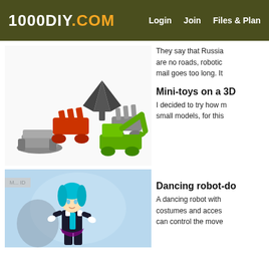1000DIY.COM   Login   Join   Files & Plan
They say that Russia are no roads, robotic mail goes too long. It
Mini-toys on a 3D
I decided to try how m small models, for this
[Figure (photo): Collection of small 3D printed toy vehicles and figures including a jet fighter, red rocket launcher, gray tanks, and a green excavator.]
Dancing robot-do
[Figure (photo): A dancing anime-style robot doll with teal hair and outfit, colorful costume accessories.]
A dancing robot with costumes and acces can control the move